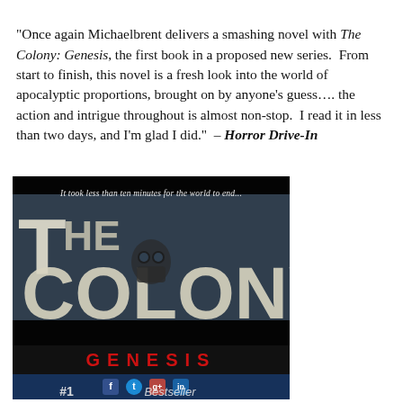"Once again Michaelbrent delivers a smashing novel with The Colony: Genesis, the first book in a proposed new series. From start to finish, this novel is a fresh look into the world of apocalyptic proportions, brought on by anyone's guess.... the action and intrigue throughout is almost non-stop. I read it in less than two days, and I'm glad I did." – Horror Drive-In
[Figure (illustration): Book cover for 'The Colony: Genesis' by Michaelbrent Collings. Dark cover with large stylized text 'THE COLONY:' and 'GENESIS' in red at the bottom. A figure in a gas mask is visible through the letters. Tagline reads 'It took less than ten minutes for the world to end...' and '#1 Bestseller' at the bottom. Social media icons visible at bottom.]